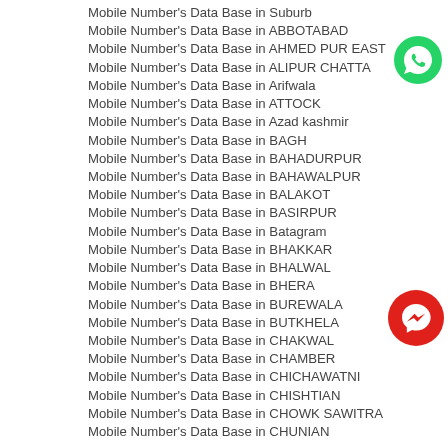Mobile Number's Data Base in Suburb
Mobile Number's Data Base in ABBOTABAD
Mobile Number's Data Base in AHMED PUR EAST
Mobile Number's Data Base in ALIPUR CHATTA
Mobile Number's Data Base in Arifwala
Mobile Number's Data Base in ATTOCK
Mobile Number's Data Base in Azad kashmir
Mobile Number's Data Base in BAGH
Mobile Number's Data Base in BAHADURPUR
Mobile Number's Data Base in BAHAWALPUR
Mobile Number's Data Base in BALAKOT
Mobile Number's Data Base in BASIRPUR
Mobile Number's Data Base in Batagram
Mobile Number's Data Base in BHAKKAR
Mobile Number's Data Base in BHALWAL
Mobile Number's Data Base in BHERA
Mobile Number's Data Base in BUREWALA
Mobile Number's Data Base in BUTKHELA
Mobile Number's Data Base in CHAKWAL
Mobile Number's Data Base in CHAMBER
Mobile Number's Data Base in CHICHAWATNI
Mobile Number's Data Base in CHISHTIAN
Mobile Number's Data Base in CHOWK SAWITRA
Mobile Number's Data Base in CHUNIAN
[Figure (logo): WhatsApp green circle logo with phone icon]
[Figure (logo): Facebook Messenger red circle logo with lightning bolt icon]